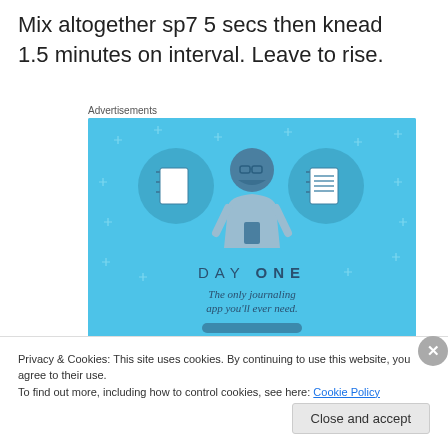Mix altogether sp7 5 secs then knead 1.5 minutes on interval. Leave to rise.
Advertisements
[Figure (illustration): DAY ONE app advertisement banner on a blue background showing a character with notebook icons and text: DAY ONE - The only journaling app you'll ever need.]
Privacy & Cookies: This site uses cookies. By continuing to use this website, you agree to their use.
To find out more, including how to control cookies, see here: Cookie Policy